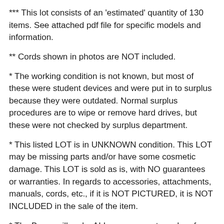*** This lot consists of an 'estimated' quantity of 130 items. See attached pdf file for specific models and information.
** Cords shown in photos are NOT included.
* The working condition is not known, but most of these were student devices and were put in to surplus because they were outdated. Normal surplus procedures are to wipe or remove hard drives, but these were not checked by surplus department.
* This listed LOT is in UNKNOWN condition. This LOT may be missing parts and/or have some cosmetic damage. This LOT is sold as is, with NO guarantees or warranties. In regards to accessories, attachments, manuals, cords, etc., if it is NOT PICTURED, it is NOT INCLUDED in the sale of the item.
* The Buyer will make ALL arrangements and perform ALL work necessary, INCLUDING packing, loading and